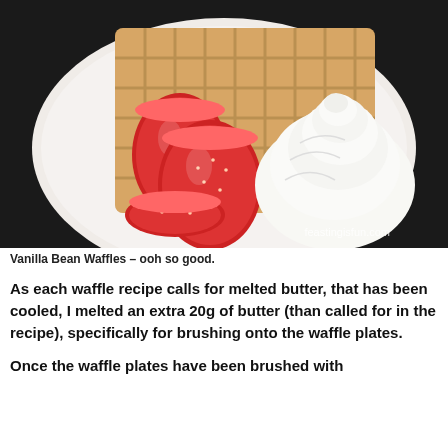[Figure (photo): Overhead view of a waffle served on a white speckled plate, topped with powdered sugar, sliced fresh strawberries, and a large dollop of whipped cream. The plate sits on a dark slate surface. Watermark reads 'feastingisfun.com' in the lower right.]
Vanilla Bean Waffles – ooh so good.
As each waffle recipe calls for melted butter, that has been cooled, I melted an extra 20g of butter (than called for in the recipe), specifically for brushing onto the waffle plates.
Once the waffle plates have been brushed with